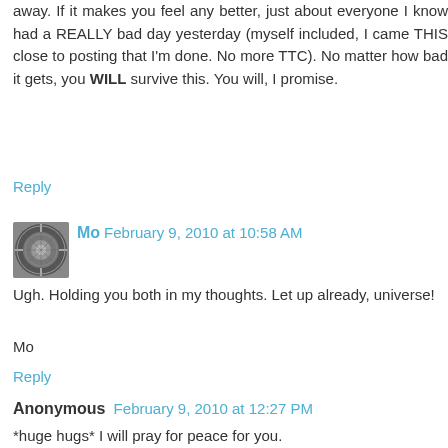away. If it makes you feel any better, just about everyone I know had a REALLY bad day yesterday (myself included, I came THIS close to posting that I'm done. No more TTC). No matter how bad it gets, you WILL survive this. You will, I promise.
Reply
Mo  February 9, 2010 at 10:58 AM
Ugh. Holding you both in my thoughts. Let up already, universe!
Mo
Reply
Anonymous  February 9, 2010 at 12:27 PM
*huge hugs* I will pray for peace for you.
Reply